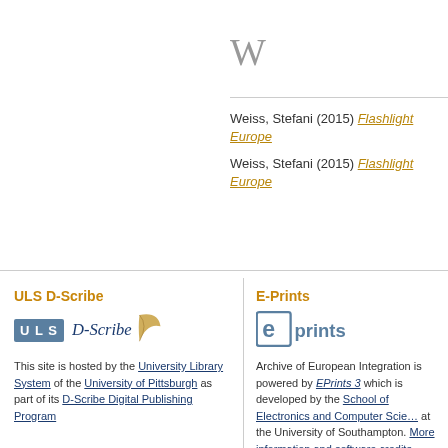W
Weiss, Stefani (2015) Flashlight Europe...
Weiss, Stefani (2015) Flashlight Europe...
ULS D-Scribe
[Figure (logo): ULS D-Scribe Digital Publishing logo with ULS box and D-Scribe calligraphy with quill]
This site is hosted by the University Library System of the University of Pittsburgh as part of its D-Scribe Digital Publishing Program
E-Prints
[Figure (logo): EPrints logo — square bracket e followed by 'prints' text]
Archive of European Integration is powered by EPrints 3 which is developed by the School of Electronics and Computer Science at the University of Southampton. More information and software credits.